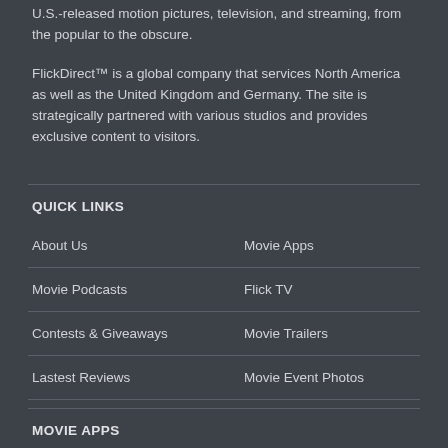U.S.-released motion pictures, television, and streaming, from the popular to the obscure.
FlickDirect™ is a global company that services North America as well as the United Kingdom and Germany. The site is strategically partnered with various studios and provides exclusive content to visitors.
QUICK LINKS
About Us
Movie Apps
Movie Podcasts
Flick TV
Contests & Giveaways
Movie Trailers
Lastest Reviews
Movie Event Photos
MOVIE APPS